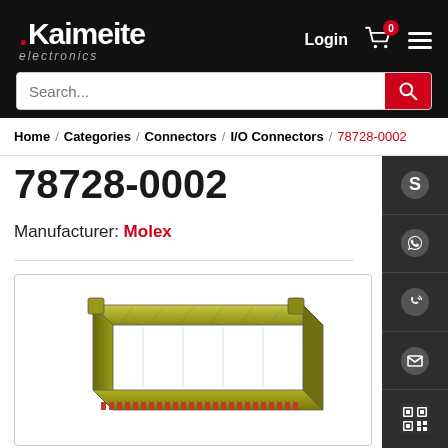[Figure (screenshot): Kaimeite Electronics website header with logo, Login link, cart icon with badge 0, hamburger menu, and search bar]
Home / Categories / Connectors / I/O Connectors / 78728-0002
78728-0002
Manufacturer: Molex
[Figure (photo): 3D rendering of Molex 78728-0002 I/O connector — a gold/olive-colored rectangular multi-pin connector with red pin contacts on the bottom]